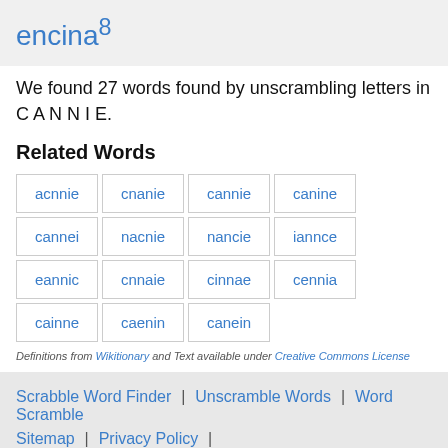encina8
We found 27 words found by unscrambling letters in C A N N I E.
Related Words
acnnie
cnanie
cannie
canine
cannei
nacnie
nancie
iannce
eannic
cnnaie
cinnae
cennia
cainne
caenin
canein
Definitions from Wikitionary and Text available under Creative Commons License
Scrabble Word Finder | Unscramble Words | Word Scramble | Sitemap | Privacy Policy |